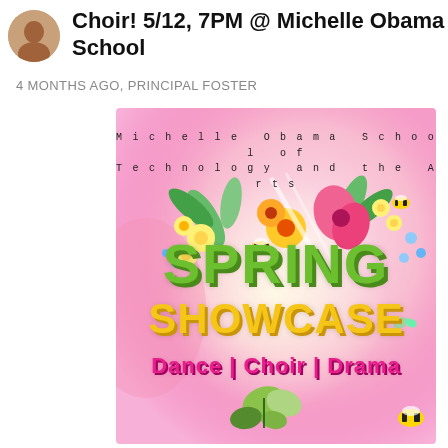Choir! 5/12, 7PM @ Michelle Obama School
4 MONTHS AGO, PRINCIPAL FOSTER
[Figure (illustration): Spring Showcase flyer for Michelle Obama School of Technology and the Arts. Features colorful spring flowers (yellow, pink, green), bees, and butterflies on a pink/cream gradient background. Large 3D text reads 'SPRING' in green and 'SHOWCASE' in yellow, with 'Dance | Choir | Drama' in pink below.]